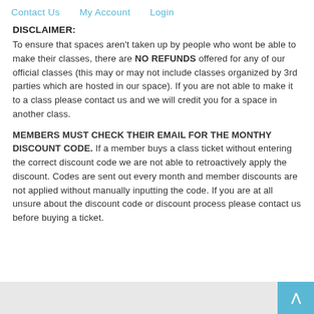Contact Us   My Account   Login
DISCLAIMER:
To ensure that spaces aren't taken up by people who wont be able to make their classes, there are NO REFUNDS offered for any of our official classes (this may or may not include classes organized by 3rd parties which are hosted in our space). If you are not able to make it to a class please contact us and we will credit you for a space in another class.
MEMBERS MUST CHECK THEIR EMAIL FOR THE MONTHY DISCOUNT CODE. If a member buys a class ticket without entering the correct discount code we are not able to retroactively apply the discount. Codes are sent out every month and member discounts are not applied without manually inputting the code. If you are at all unsure about the discount code or discount process please contact us before buying a ticket.
^